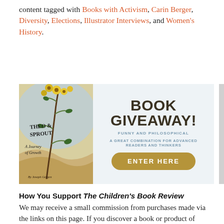content tagged with Books with Activism, Carin Berger, Diversity, Elections, Illustrator Interviews, and Women's History.
[Figure (other): Book giveaway banner featuring the cover of 'Theo & Sprout: A Journey of Growth' by Joseph Gergen on the left, and on the right 'BOOK GIVEAWAY! FUNNY AND PHILOSOPHICAL A GREAT COMBINATION FOR ADVANCED READERS AND THINKERS' with an 'ENTER HERE' button.]
How You Support The Children's Book Review
We may receive a small commission from purchases made via the links on this page. If you discover a book or product of interest on this page and use the links